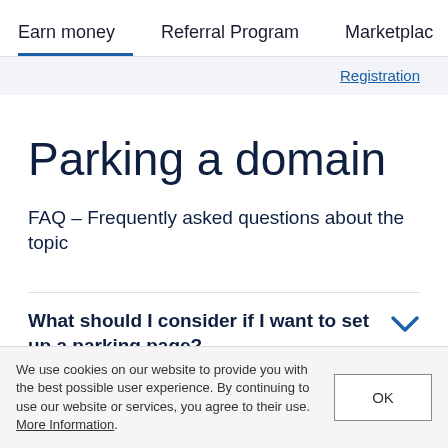Earn money  Referral Program  Marketplace
Registration
Parking a domain
FAQ – Frequently asked questions about the topic
What should I consider if I want to set up a parking page?
We use cookies on our website to provide you with the best possible user experience. By continuing to use our website or services, you agree to their use. More Information.